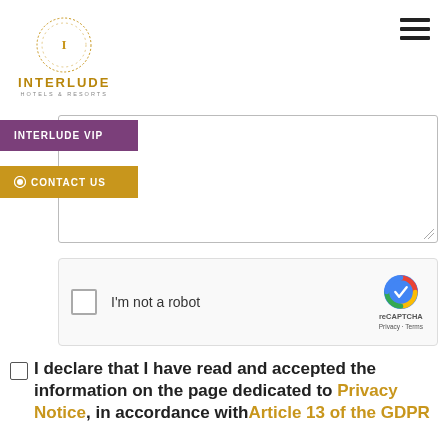[Figure (logo): Interlude Hotels & Resorts circular logo with golden text]
INTERLUDE VIP | CONTACT US
Message (textarea placeholder)
[Figure (screenshot): Google reCAPTCHA widget with checkbox 'I'm not a robot']
□ I declare that I have read and accepted the information on the page dedicated to Privacy Notice, in accordance with Article 13 of the GDPR